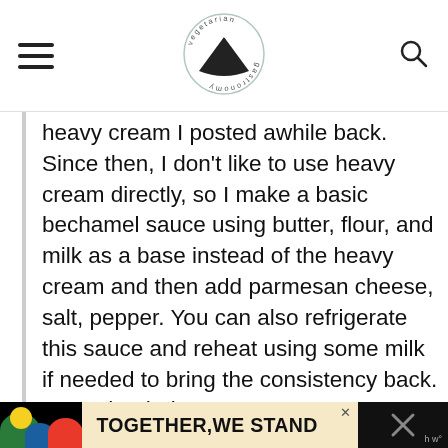[Figure (logo): Vegetarian Gastronomy circular logo with text around a black bowl/fan shape with utensils]
heavy cream I posted awhile back. Since then, I don't like to use heavy cream directly, so I make a basic bechamel sauce using butter, flour, and milk as a base instead of the heavy cream and then add parmesan cheese, salt, pepper. You can also refrigerate this sauce and reheat using some milk if needed to bring the consistency back. Hope that helps!
[Figure (infographic): Advertisement banner reading TOGETHER, WE STAND with colorful shapes on black background]